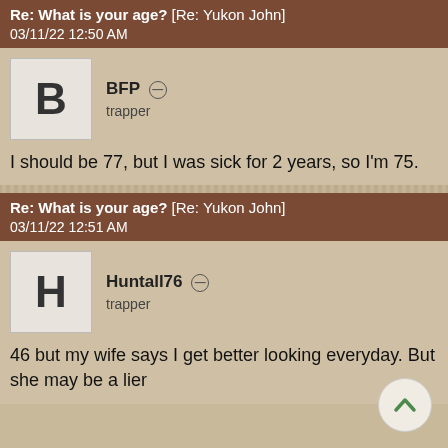Re: What is your age? [Re: Yukon John]
03/11/22 12:50 AM
BFP
trapper
I should be 77, but I was sick for 2 years, so I'm 75.
Re: What is your age? [Re: Yukon John]
03/11/22 12:51 AM
Huntall76
trapper
46 but my wife says I get better looking everyday. But she may be a lier